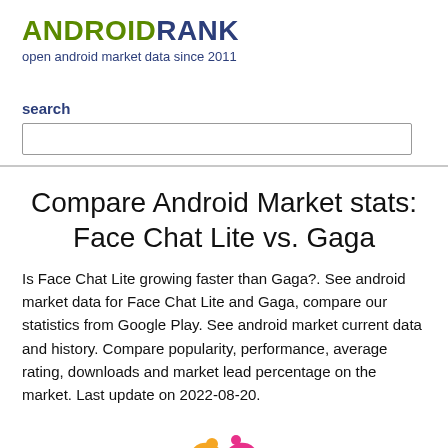ANDROIDRANK
open android market data since 2011
search
Compare Android Market stats: Face Chat Lite vs. Gaga
Is Face Chat Lite growing faster than Gaga?. See android market data for Face Chat Lite and Gaga, compare our statistics from Google Play. See android market current data and history. Compare popularity, performance, average rating, downloads and market lead percentage on the market. Last update on 2022-08-20.
[Figure (logo): Face Chat Lite app logo - colorful bird/butterfly shape with LITE text beneath]